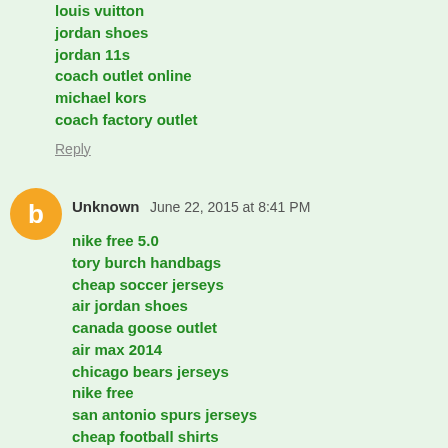louis vuitton
jordan shoes
jordan 11s
coach outlet online
michael kors
coach factory outlet
Reply
Unknown   June 22, 2015 at 8:41 PM
nike free 5.0
tory burch handbags
cheap soccer jerseys
air jordan shoes
canada goose outlet
air max 2014
chicago bears jerseys
nike free
san antonio spurs jerseys
cheap football shirts
rolex watches uk
dansko outlet